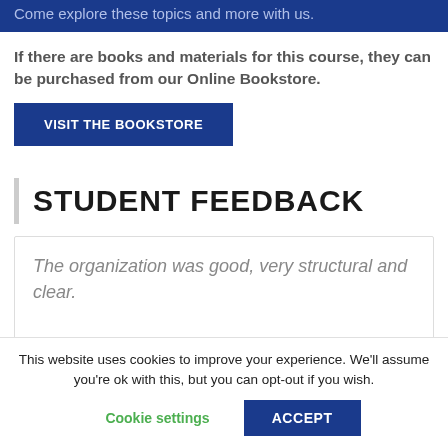Come explore these topics and more with us.
If there are books and materials for this course, they can be purchased from our Online Bookstore.
VISIT THE BOOKSTORE
STUDENT FEEDBACK
The organization was good, very structural and clear.
This website uses cookies to improve your experience. We'll assume you're ok with this, but you can opt-out if you wish.
Cookie settings
ACCEPT